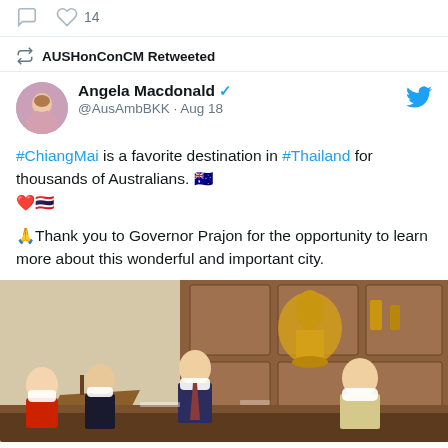14 (likes)
AUSHonConCM Retweeted
Angela Macdonald @AusAmbBKK · Aug 18
#ChiangMai is a favorite destination in #Thailand for thousands of Australians. 🇦🇺❤️🇹🇭
🙏Thank you to Governor Prajon for the opportunity to learn more about this wonderful and important city.
[Figure (photo): Photo of a meeting in an ornate Thai office with people seated around a table, some wearing white face masks. A decorative golden statue is visible in the background against wooden cabinets.]